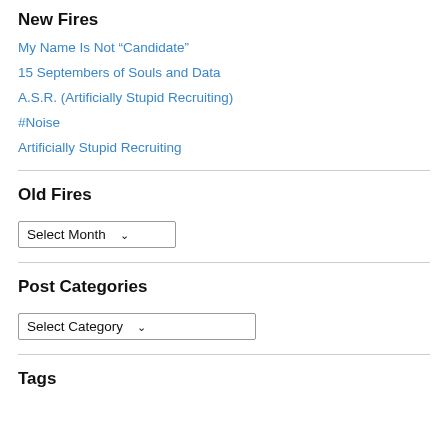New Fires
My Name Is Not “Candidate”
15 Septembers of Souls and Data
A.S.R. (Artificially Stupid Recruiting)
#Noise
Artificially Stupid Recruiting
Old Fires
Select Month
Post Categories
Select Category
Tags